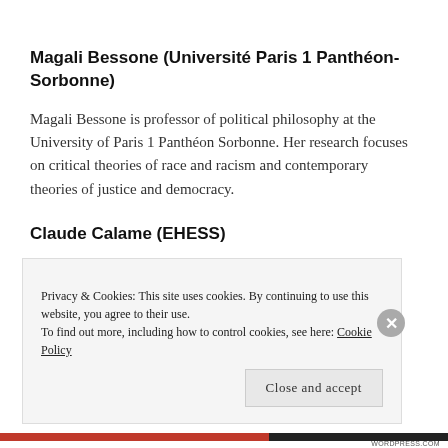Magali Bessone (Université Paris 1 Panthéon-Sorbonne)
Magali Bessone is professor of political philosophy at the University of Paris 1 Panthéon Sorbonne. Her research focuses on critical theories of race and racism and contemporary theories of justice and democracy.
Claude Calame (EHESS)
Currently director of studies at the Ecole des Hautes
Privacy & Cookies: This site uses cookies. By continuing to use this website, you agree to their use.
To find out more, including how to control cookies, see here: Cookie Policy
Close and accept